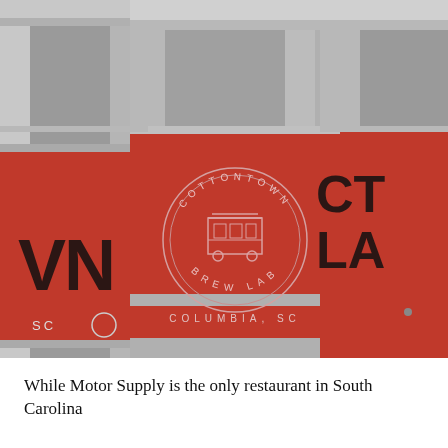[Figure (photo): Close-up photograph of multiple stainless steel beer kegs with red labels showing 'Cottontown Brew Lab' branding with a circular logo featuring a trolley/streetcar, and text reading 'Columbia, SC'. The kegs are metallic silver with the distinctive red branded sections.]
While Motor Supply is the only restaurant in South Carolina